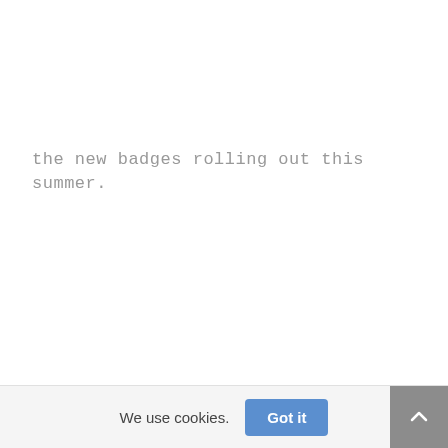the new badges rolling out this summer.
We use cookies.  Got it